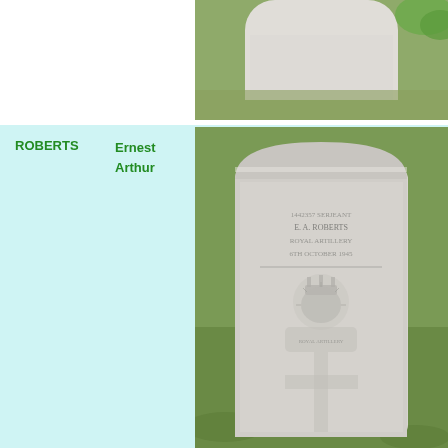[Figure (photo): Top portion of a white military gravestone photographed outdoors with grass and plants visible in the background]
ROBERTS
Ernest Arthur
[Figure (photo): Full military gravestone for E.A. Roberts, Royal Artillery, 6th October 1945, with Commonwealth War Graves Commission emblem and cross carved into the stone, set in grass]